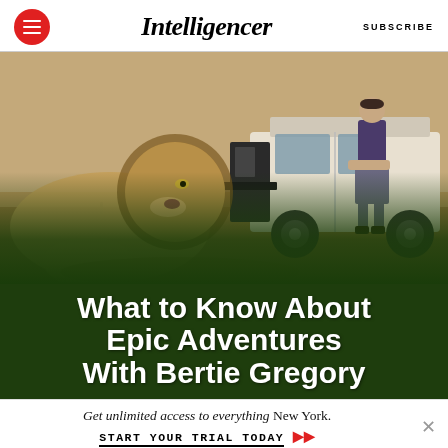Intelligencer | SUBSCRIBE
[Figure (photo): A lion approaching a safari vehicle with a cameraman sitting on the side, in an arid African landscape]
What to Know About Epic Adventures With Bertie Gregory
Get unlimited access to everything New York. START YOUR TRIAL TODAY